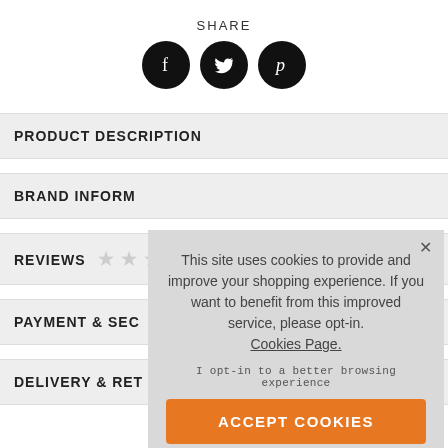SHARE
[Figure (illustration): Three black circular social media icons: Facebook (f), Twitter (bird), Pinterest (P)]
PRODUCT DESCRIPTION
BRAND INFORM
REVIEWS ★ ★
PAYMENT & SEC
DELIVERY & RET
This site uses cookies to provide and improve your shopping experience. If you want to benefit from this improved service, please opt-in. Cookies Page.

I opt-in to a better browsing experience
ACCEPT COOKIES